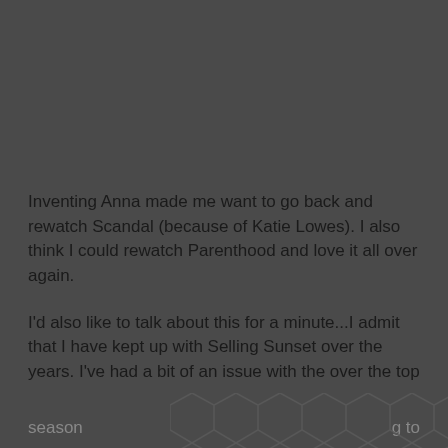[Figure (photo): Dark gray background image area occupying the top portion of the page]
Inventing Anna made me want to go back and rewatch Scandal (because of Katie Lowes). I also think I could rewatch Parenthood and love it all over again.
I'd also like to talk about this for a minute...I admit that I have kept up with Selling Sunset over the years. I've had a bit of an issue with the over the top amount of plastics featured along with the clear focus on appearance since season [continues] ...g to
[Figure (illustration): Dark geometric hexagonal pattern overlay at the bottom of the page]